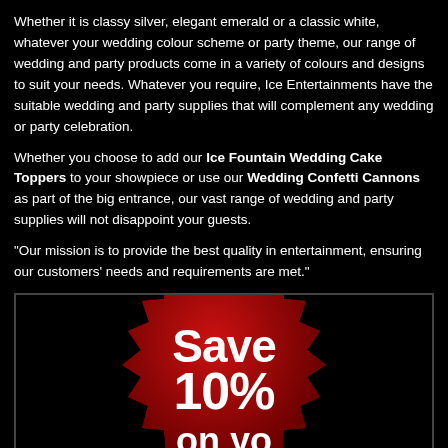Whether it is classy silver, elegant emerald or a classic white, whatever your wedding colour scheme or party theme, our range of wedding and party products come in a variety of colours and designs to suit your needs. Whatever you require, Ice Entertainments have the suitable wedding and party supplies that will complement any wedding or party celebration.
Whether you choose to add our Ice Fountain Wedding Cake Toppers to your showpiece or use our Wedding Confetti Cannons as part of the big entrance, our vast range of wedding and party supplies will not disappoint your guests.
"Our mission is to provide the best quality in entertainment, ensuring our customers' needs and requirements are met."
[Figure (infographic): Dark promotional box with a red starburst/seal badge showing 'Save 10% on yo...' (text partially cut off at bottom)]